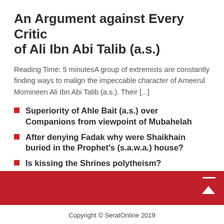An Argument against Every Critic of Ali Ibn Abi Talib (a.s.)
Reading Time: 5 minutesA group of extremists are constantly finding ways to malign the impeccable character of Ameerul Momineen Ali Ibn Abi Talib (a.s.). Their [...]
Superiority of Ahle Bait (a.s.) over Companions from viewpoint of Mubahelah
After denying Fadak why were Shaikhain buried in the Prophet's (s.a.w.a.) house?
Is kissing the Shrines polytheism?
Abdullah Ibn Umar's desperation to seek out the Imam of the Time
Copyright © SeratOnline 2019